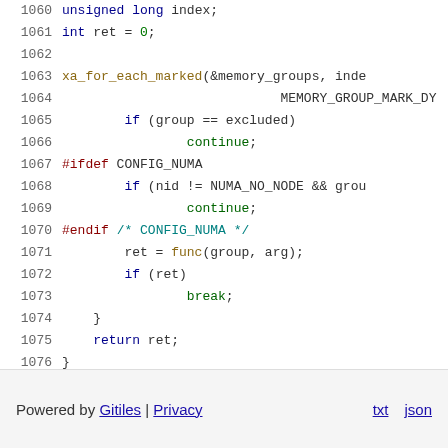Source code viewer showing lines 1060-1076 of a C kernel file with syntax highlighting
Powered by Gitiles | Privacy    txt  json